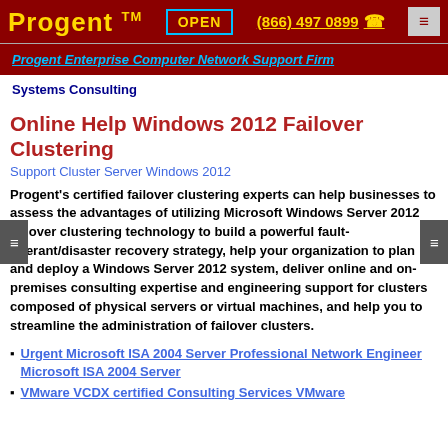Progent ™  OPEN  (866) 497 0899  ☎
Progent Enterprise Computer Network Support Firm
Systems Consulting
Online Help Windows 2012 Failover Clustering
Support Cluster Server Windows 2012
Progent's certified failover clustering experts can help businesses to assess the advantages of utilizing Microsoft Windows Server 2012 failover clustering technology to build a powerful fault-tolerant/disaster recovery strategy, help your organization to plan and deploy a Windows Server 2012 system, deliver online and on-premises consulting expertise and engineering support for clusters composed of physical servers or virtual machines, and help you to streamline the administration of failover clusters.
Urgent Microsoft ISA 2004 Server Professional Network Engineer Microsoft ISA 2004 Server
VMware VCDX certified Consulting Services VMware